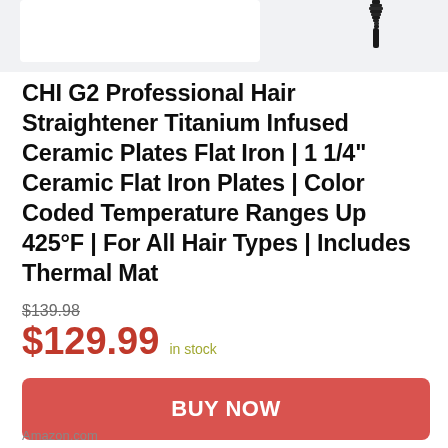[Figure (photo): Partial product image showing the top/cord of a hair straightener against a light gray background]
CHI G2 Professional Hair Straightener Titanium Infused Ceramic Plates Flat Iron | 1 1/4" Ceramic Flat Iron Plates | Color Coded Temperature Ranges Up 425°F | For All Hair Types | Includes Thermal Mat
$139.98 (strikethrough original price)
$129.99  in stock
BUY NOW
Amazon.com